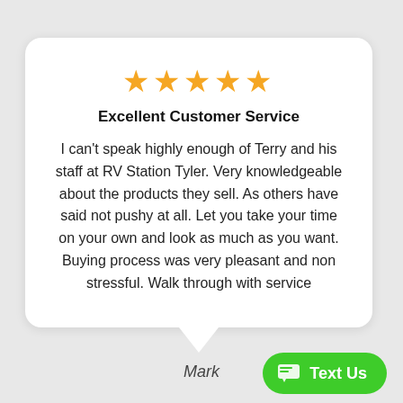[Figure (illustration): Five gold star rating icons in a row]
Excellent Customer Service
I can't speak highly enough of Terry and his staff at RV Station Tyler. Very knowledgeable about the products they sell. As others have said not pushy at all. Let you take your time on your own and look as much as you want. Buying process was very pleasant and non stressful. Walk through with service
Mark
[Figure (illustration): Green 'Text Us' button with chat bubble icon]